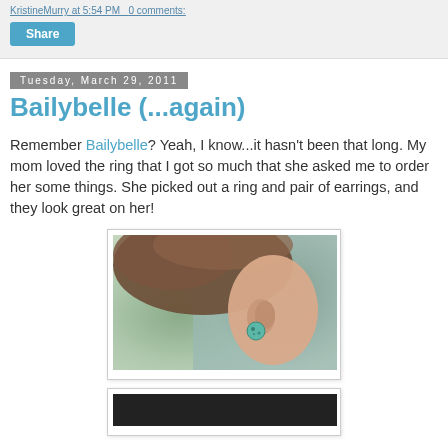KristineMurry at 5:54 PM   0 comments:
Share
Tuesday, March 29, 2011
Bailybelle (...again)
Remember Bailybelle? Yeah, I know...it hasn't been that long. My mom loved the ring that I got so much that she asked me to order her some things. She picked out a ring and pair of earrings, and they look great on her!
[Figure (photo): Close-up photo of a woman's ear wearing a turquoise/teal stud earring, with blurred background]
[Figure (photo): Partially visible second photo, mostly dark/cropped at bottom of page]